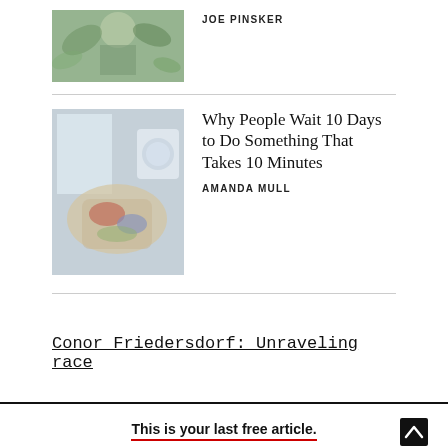[Figure (photo): Illustrated image of a person with plant/floral elements, green tones]
JOE PINSKER
Why People Wait 10 Days to Do Something That Takes 10 Minutes
[Figure (photo): Photo of laundry/clothes folding scene, muted colors]
AMANDA MULL
Conor Friedersdorf: Unraveling race
The writers of the petition only fitfully
This is your last free article.